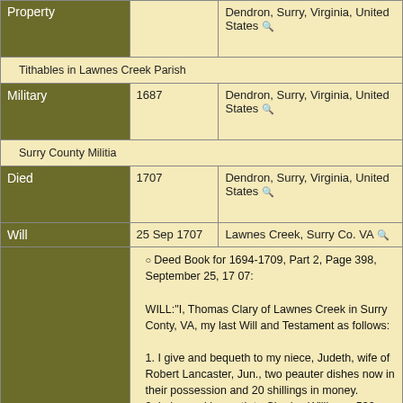| Property | 1691 | Dendron, Surry, Virginia, United States |
| --- | --- | --- |
|  |  | Tithables in Lawnes Creek Parish |
| Military | 1687 | Dendron, Surry, Virginia, United States |
|  |  | Surry County Militia |
| Died | 1707 | Dendron, Surry, Virginia, United States |
| Will | 25 Sep 1707 | Lawnes Creek, Surry Co. VA |
|  |  | Deed Book for 1694-1709, Part 2, Page 398, September 25, 17 07:

WILL:"I, Thomas Clary of Lawnes Creek in Surry Conty, VA, my last Will and Testament as follows:

1. I give and bequeth to my niece, Judeth, wife of Robert Lancaster, Jun., two peauter dishes now in their possession and 20 shillings in money.
2. I give and bequeth to Charles Williams, 530 pounds of tobacco, whatever the said Williams is indebted to mean iron pot now in his possession.
3. I give and bequeth all the rest and reminder of my estate of whatever nature and qualiy, forever to equally divided between my brother William Clary, my sister, Ann R.W. and my nephew Edward Brown.
Set hand and seal this 25th day of Sep. 1707 in presence o f Thos. Holt, Joseph, Jn. Jackman, requstered at courthouse, County of Surry, 4 Nov. |